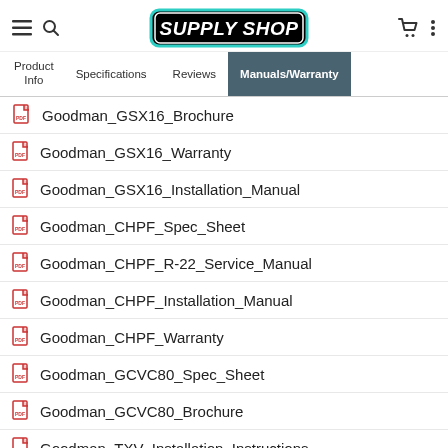[Figure (logo): Supply Shop logo with teal rounded rectangle border and bold italic text]
Product Info | Specifications | Reviews | Manuals/Warranty
Goodman_GSX16_Brochure
Goodman_GSX16_Warranty
Goodman_GSX16_Installation_Manual
Goodman_CHPF_Spec_Sheet
Goodman_CHPF_R-22_Service_Manual
Goodman_CHPF_Installation_Manual
Goodman_CHPF_Warranty
Goodman_GCVC80_Spec_Sheet
Goodman_GCVC80_Brochure
Goodman_TXV_Installation_Instructions